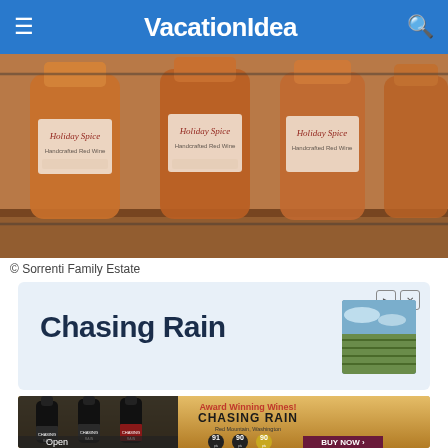VacationIdea
[Figure (photo): Close-up photo of multiple wine bottles labeled 'Holiday Spice' with reddish wine inside, stored in a rack]
© Sorrenti Family Estate
[Figure (screenshot): Advertisement box with light blue background showing 'Chasing Rain' text in dark blue and a small thumbnail of a vineyard field]
[Figure (photo): Wine advertisement banner for Chasing Rain wines — shows three dark wine bottles on left, text 'Award Winning Wines! CHASING RAIN Red Mountain Washington' with rating badges 91pt, 90pt, 90pt, and 'Open' / 'BUY NOW' buttons at bottom]